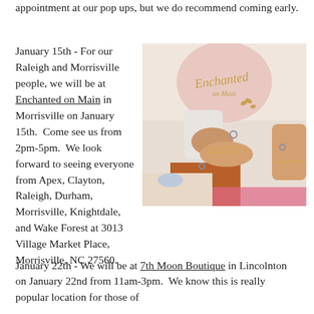appointment at our pop ups, but we do recommend coming early.
January 15th - For our Raleigh and Morrisville people, we will be at Enchanted on Main in Morrisville on January 15th. Come see us from 2pm-5pm. We look forward to seeing everyone from Apex, Clayton, Raleigh, Durham, Morrisville, Knightdale, and Wake Forest at 3013 Village Market Place, Morrisville, NC 27560.
[Figure (photo): Two women's hands with bracelets and rings, one helping the other try on a bracelet, in front of an 'Enchanted on Main' sign with gold cursive lettering on a light pink background.]
January 22th - We will be at 7th Moon Boutique in Lincolnton on January 22nd from 11am-3pm. We know this is really popular location for those of